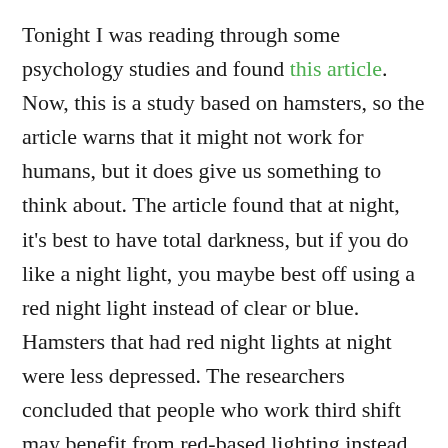Tonight I was reading through some psychology studies and found this article. Now, this is a study based on hamsters, so the article warns that it might not work for humans, but it does give us something to think about. The article found that at night, it's best to have total darkness, but if you do like a night light, you maybe best off using a red night light instead of clear or blue. Hamsters that had red night lights at night were less depressed. The researchers concluded that people who work third shift may benefit from red-based lighting instead of white lights.
Of course there is a stigma to using a red light 😉 but reading this study reminded me of the maroon silk sample my old doctor gave me. It's interesting advice to use red-colored items to avoid depression. Maybe there is something to